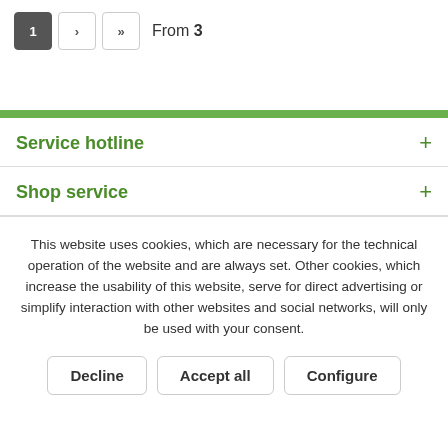1 > >> From 3
Service hotline
Shop service
This website uses cookies, which are necessary for the technical operation of the website and are always set. Other cookies, which increase the usability of this website, serve for direct advertising or simplify interaction with other websites and social networks, will only be used with your consent.
Decline  Accept all  Configure